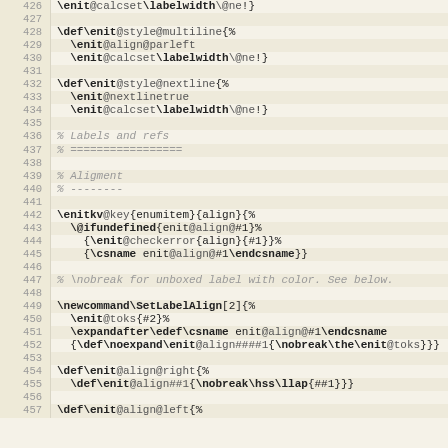Source code listing, lines 426–457, LaTeX package source (enumitem style)